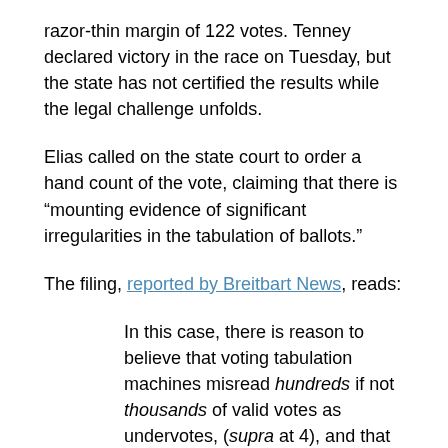razor-thin margin of 122 votes. Tenney declared victory in the race on Tuesday, but the state has not certified the results while the legal challenge unfolds.
Elias called on the state court to order a hand count of the vote, claiming that there is “mounting evidence of significant irregularities in the tabulation of ballots.”
The filing, reported by Breitbart News, reads:
In this case, there is reason to believe that voting tabulation machines misread hundreds if not thousands of valid votes as undervotes, (supra at 4), and that these tabulation machine errors disproportionately affected Brindisi, (id.). In addition, Oswego County admitted in a sworn statement to this Court that its tabulation machines were not tested and